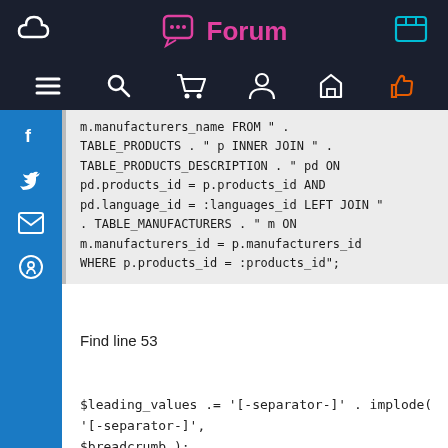Forum
m.manufacturers_name FROM " . TABLE_PRODUCTS . " p INNER JOIN " . TABLE_PRODUCTS_DESCRIPTION . " pd ON pd.products_id = p.products_id AND pd.language_id = :languages_id LEFT JOIN " . TABLE_MANUFACTURERS . " m ON m.manufacturers_id = p.manufacturers_id WHERE p.products_id = :products_id";
Find line 53
$leading_values .= '[-separator-]' . implode( '[-separator-]', $breadcrumb );